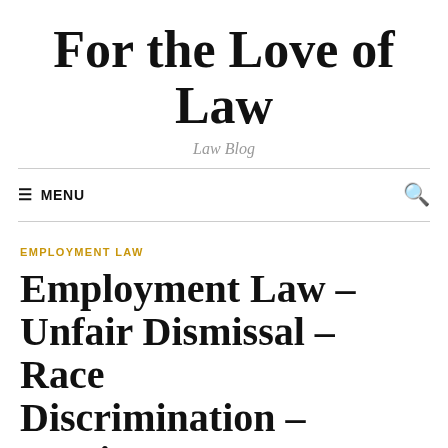For the Love of Law
Law Blog
EMPLOYMENT LAW
Employment Law – Unfair Dismissal – Race Discrimination – Foreign